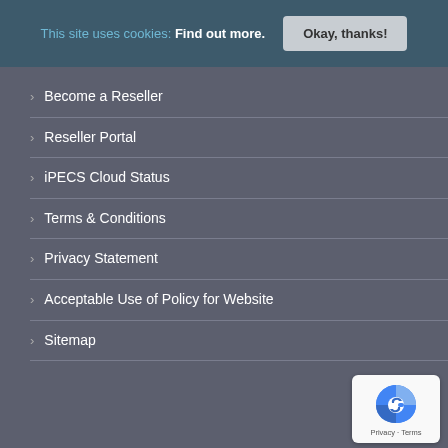This site uses cookies: Find out more. Okay, thanks!
Become a Reseller
Reseller Portal
iPECS Cloud Status
Terms & Conditions
Privacy Statement
Acceptable Use of Policy for Website
Sitemap
[Figure (logo): reCAPTCHA logo badge with Privacy and Terms text]